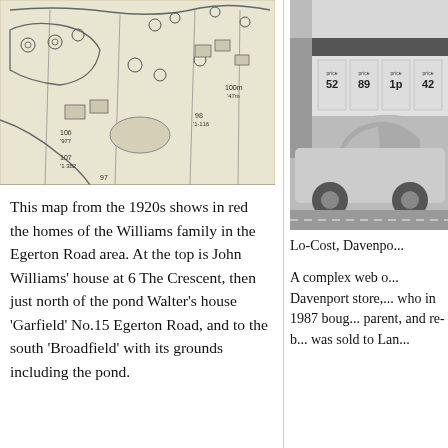[Figure (map): A 1920s Ordnance Survey style map showing the Egerton Road area with property plots, tree symbols, and plot numbers including 106 '977, 107 '1-382, 98 '1-116, 100m '47m, and 97.]
This map from the 1920s shows in red the homes of the Williams family in the Egerton Road area. At the top is John Williams' house at 6 The Crescent, then just north of the pond Walter's house 'Garfield' No.15 Egerton Road, and to the south 'Broadfield' with its grounds including the pond.
[Figure (photo): Black and white photograph of Lo-Cost supermarket at Davenport, showing a car parked outside with price signs visible in the storefront windows.]
Lo-Cost, Davenpo...
A complex web o... Davenport store,... who in 1987 boug... parent, and re-b... was sold to Lan...